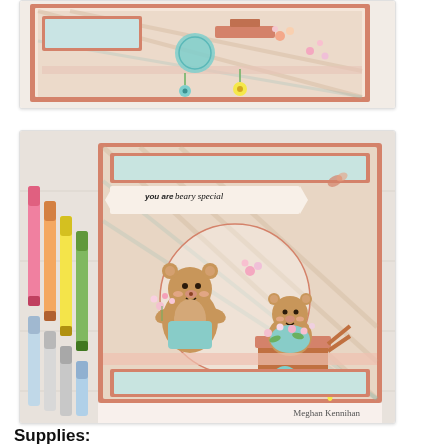[Figure (photo): Close-up photo of a handmade greeting card featuring a bear with a wheelbarrow of flowers, floral patterned paper with salmon/peach border, blue circular element, yellow daisy and blue flower at bottom]
[Figure (photo): Photo of a completed handmade card with two cute cartoon bears, one holding flowers and one in a wheelbarrow surrounded by flowers. Card reads 'you are beary special'. Copic markers visible on the left side. Card has salmon borders, gingham patterned background, and glitter strip. Credited to Meghan Kennihan, Design Team.]
Supplies: